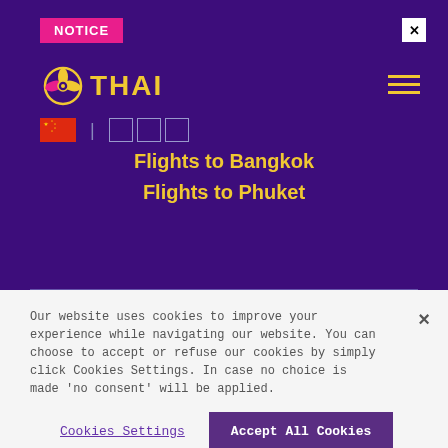NOTICE
[Figure (logo): Thai Airways logo with golden propeller/flower symbol and THAI text in gold on purple background]
[Figure (illustration): Chinese flag and three empty character boxes for language selection]
Flights to Bangkok
Flights to Phuket
Our website uses cookies to improve your experience while navigating our website. You can choose to accept or refuse our cookies by simply click Cookies Settings. In case no choice is made 'no consent' will be applied.
Cookies Settings
Accept All Cookies